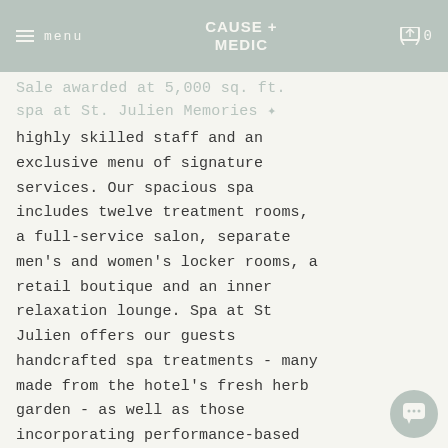menu | CAUSE + MEDIC | 0
Sale awarded at 5,000 sq. ft. spa at St. Julien Memories
highly skilled staff and an exclusive menu of signature services. Our spacious spa includes twelve treatment rooms, a full-service salon, separate men’s and women’s locker rooms, a retail boutique and an inner relaxation lounge. Spa at St Julien offers our guests handcrafted spa treatments - many made from the hotel’s fresh herb garden - as well as those incorporating performance-based product lines from Naturopathica, Zents, Luzern, Body Bliss and